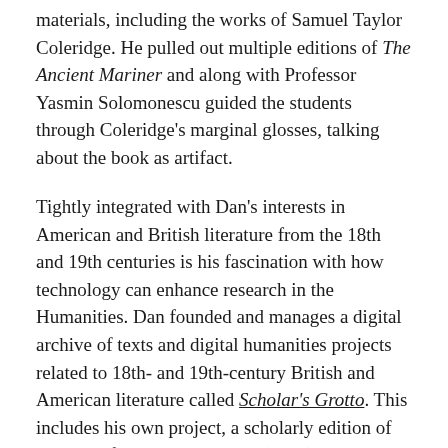materials, including the works of Samuel Taylor Coleridge. He pulled out multiple editions of The Ancient Mariner and along with Professor Yasmin Solomonescu guided the students through Coleridge's marginal glosses, talking about the book as artifact.
Tightly integrated with Dan's interests in American and British literature from the 18th and 19th centuries is his fascination with how technology can enhance research in the Humanities. Dan founded and manages a digital archive of texts and digital humanities projects related to 18th- and 19th-century British and American literature called Scholar's Grotto. This includes his own project, a scholarly edition of The Relief; or, Day Thoughts (1754), a parody and critique of graveyard poetry by Henry Jones, the "bricklayer poet."